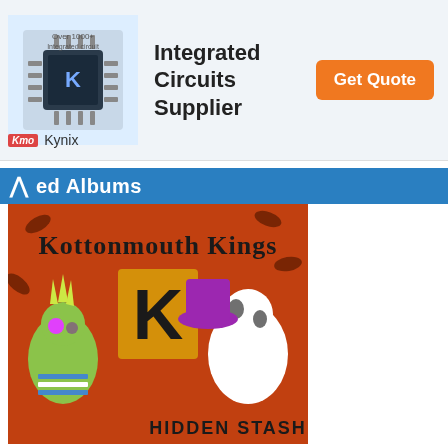[Figure (illustration): Advertisement banner for Kynix Integrated Circuits Supplier with chip image, title text 'Integrated Circuits Supplier', orange 'Get Quote' button, and Kynix logo/name]
ed Albums
[Figure (illustration): Kottonmouth Kings 'Hidden Stash' album cover artwork showing cartoon punk characters with marijuana leaf motifs]
Hidden Stash
[Figure (illustration): Partial view of another Kottonmouth Kings album cover with fiery background]